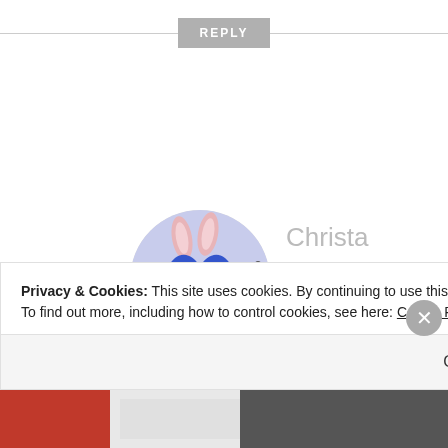REPLY
[Figure (illustration): Circular avatar with a cartoon blue heart character with bunny ears and zipper mouth on lavender background]
Christa
APRIL 4, 2015 AT 6:00 PM
Oh my gosh! I have the same
Privacy & Cookies: This site uses cookies. By continuing to use this website, you agree to their use.
To find out more, including how to control cookies, see here: Cookie Policy
Close and accept